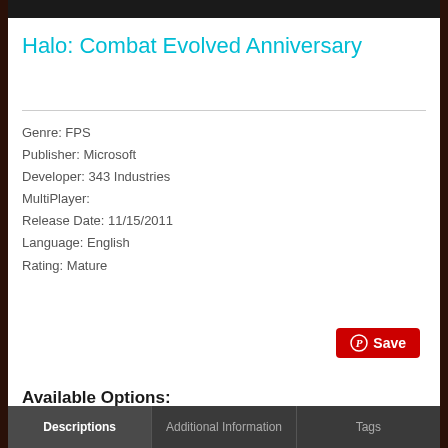Halo: Combat Evolved Anniversary
Genre: FPS
Publisher: Microsoft
Developer: 343 Industries
MultiPlayer:
Release Date: 11/15/2011
Language: English
Rating: Mature
[Figure (other): Pinterest Save button — red rounded rectangle with Pinterest logo and 'Save' text]
Available Options:
No results!
Descriptions | Additional Information | Tags